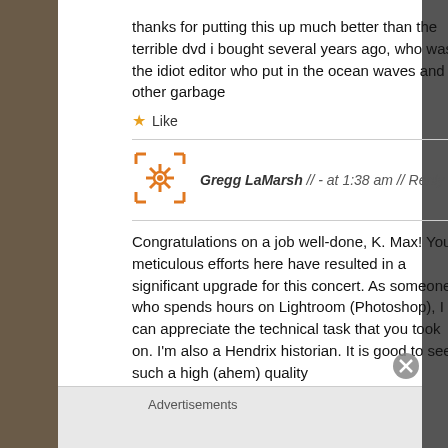thanks for putting this up much better than the terrible dvd i bought several years ago, who was the idiot editor who put in the ocean waves and other garbage
★ Like
Gregg LaMarsh // - at 1:38 am // Reply
Congratulations on a job well-done, K. Max! Your meticulous efforts here have resulted in a significant upgrade for this concert. As someone who spends hours on Lightroom (Photoshop), I can appreciate the technical task that you took on. I'm also a Hendrix historian. It is good to see such a high (ahem) quality
Advertisements